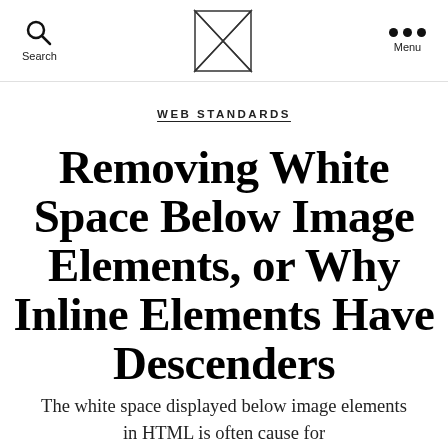Search | [Logo] | Menu
WEB STANDARDS
Removing White Space Below Image Elements, or Why Inline Elements Have Descenders
The white space displayed below image elements in HTML is often cause for